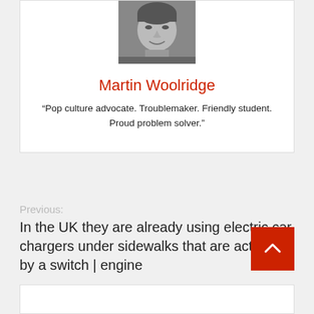[Figure (photo): Black and white portrait photo of Martin Woolridge, a man smiling]
Martin Woolridge
“Pop culture advocate. Troublemaker. Friendly student. Proud problem solver.”
Previous:
In the UK they are already using electric car chargers under sidewalks that are activated by a switch | engine
Next:
free! They’re giving away these 4 PC classics for a limited time